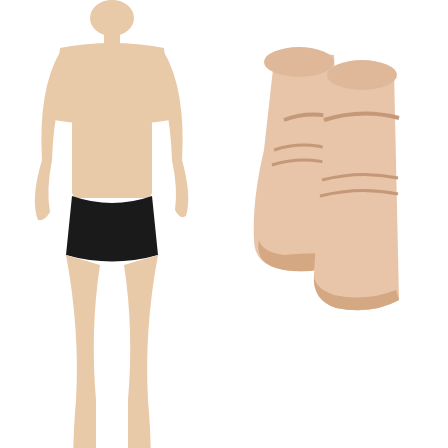[Figure (photo): Male dancer wearing black dance brief, upper body and legs visible, white background, left half of image]
[Figure (photo): Close-up of ballet shoes/feet in pink canvas split-sole ballet shoes, right half of image]
[Figure (photo): Black color swatch square]
CAPEZ
Reinforced Da
£19.9
1 In Stoc
TOP
This site uses cookies to provide and improve your shopping experience. If you want to benefit from this improved service, please opt-in. Cookies Page.
I opt-in to a better browsing experience
ACCEPT COOKIES
X